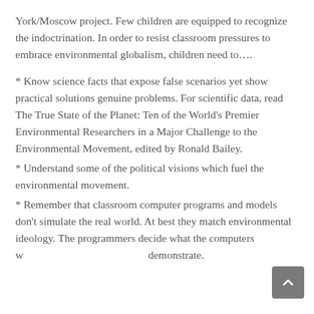York/Moscow project. Few children are equipped to recognize the indoctrination. In order to resist classroom pressures to embrace environmental globalism, children need to….
* Know science facts that expose false scenarios yet show practical solutions genuine problems. For scientific data, read The True State of the Planet: Ten of the World's Premier Environmental Researchers in a Major Challenge to the Environmental Movement, edited by Ronald Bailey.
* Understand some of the political visions which fuel the environmental movement.
* Remember that classroom computer programs and models don't simulate the real world. At best they match environmental ideology. The programmers decide what the computers w… demonstrate.